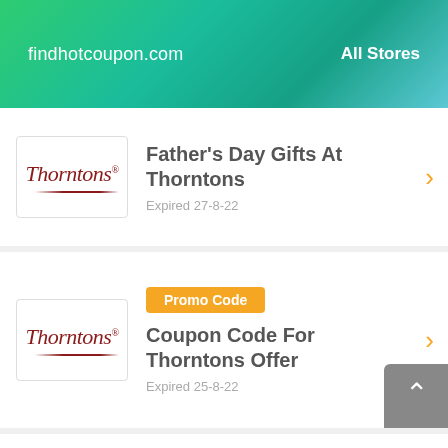findhotcoupon.com    All Stores
Father's Day Gifts At Thorntons
Expired 27-8-22
Promo Code
Coupon Code For Thorntons Offer
Expired 25-8-22
Up To 25% Savings On Classic Collection At